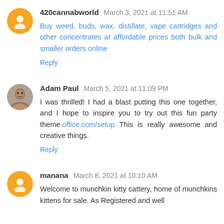420cannabworld  March 3, 2021 at 11:51 AM
Buy weed, buds, wax, distillate, vape cartridges and other concentrates at affordable prices both bulk and smaller orders online
Reply
Adam Paul  March 5, 2021 at 11:09 PM
I was thrilled! I had a blast putting this one together, and I hope to inspire you to try out this fun party theme.office.com/setup  This is really awesome and creative things.
Reply
manana  March 8, 2021 at 10:10 AM
Welcome to munchkin kitty cattery, home of munchkins kittens for sale. As Registered and well